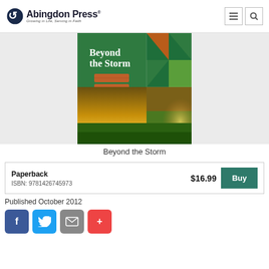Abingdon Press — Growing in Life, Serving in Faith
[Figure (photo): Book cover of 'Beyond the Storm' by Carolyn Zane, showing a green cover with orange brick design and a dramatic sunset over a cornfield]
Beyond the Storm
| Paperback | $16.99 | Buy |
| ISBN: 9781426745973 |  |  |
Published October 2012
[Figure (infographic): Social share buttons: Facebook (f), Twitter (bird), Email (envelope), Plus (+)]